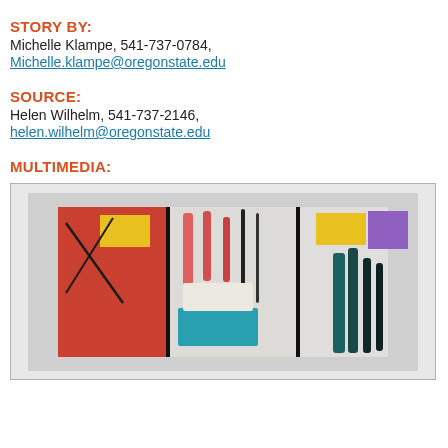STORY BY:
Michelle Klampe, 541-737-0784,
Michelle.klampe@oregonstate.edu
SOURCE:
Helen Wilhelm, 541-737-2146,
helen.wilhelm@oregonstate.edu
MULTIMEDIA:
[Figure (photo): Abstract painting with red, black, white, yellow, teal, and purple brushstrokes on a light background, displayed against a gray wall.]